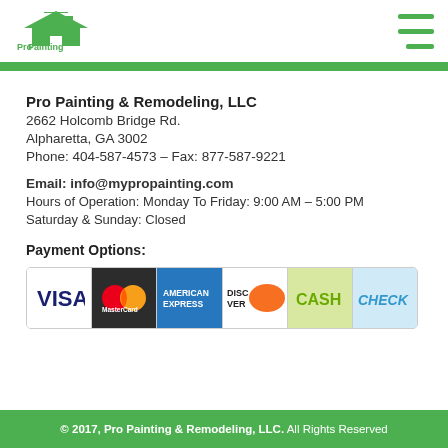[Figure (logo): Pro Painting & Remodeling company logo with green roof house icon]
Pro Painting & Remodeling, LLC
2662 Holcomb Bridge Rd.
Alpharetta, GA 3002
Phone: 404-587-4573 – Fax: 877-587-9221
Email: info@mypropainting.com
Hours of Operation: Monday To Friday: 9:00 AM – 5:00 PM
Saturday & Sunday: Closed
Payment Options:
[Figure (other): Payment method icons: Visa, MasterCard, American Express, Discover, Cash, Check]
© 2017, Pro Painting & Remodeling, LLC. All Rights Reserved